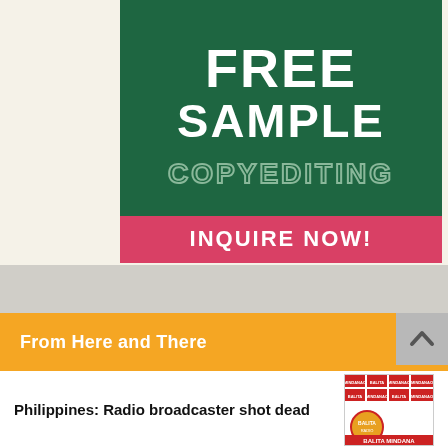[Figure (illustration): Advertisement banner with green background showing 'FREE SAMPLE COPYEDITING' text and a pink/red bar at bottom with 'INQUIRE NOW!' text]
From Here and There
Philippines: Radio broadcaster shot dead